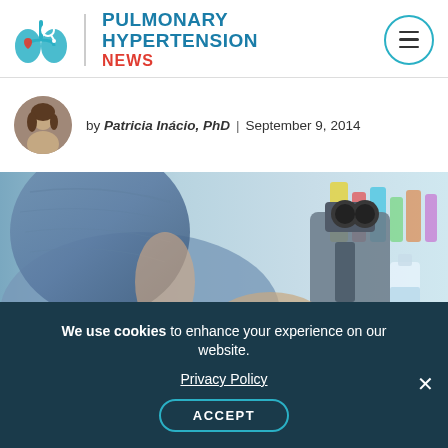Pulmonary Hypertension News
by Patricia Inácio, PhD | September 9, 2014
[Figure (photo): Laboratory scientist in blue hairnet and gloves working with microscope and lab equipment, colorful supplies in background]
We use cookies to enhance your experience on our website. Privacy Policy ACCEPT